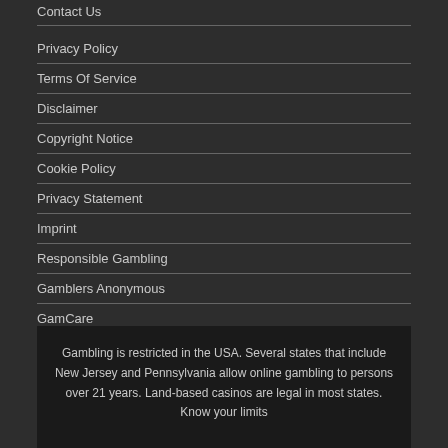Contact Us
Privacy Policy
Terms Of Service
Disclaimer
Copyright Notice
Cookie Policy
Privacy Statement
Imprint
Responsible Gambling
Gamblers Anonymous
GamCare
Gambling is restricted in the USA. Several states that include New Jersey and Pennsylvania allow online gambling to persons over 21 years. Land-based casinos are legal in most states. Know your limits